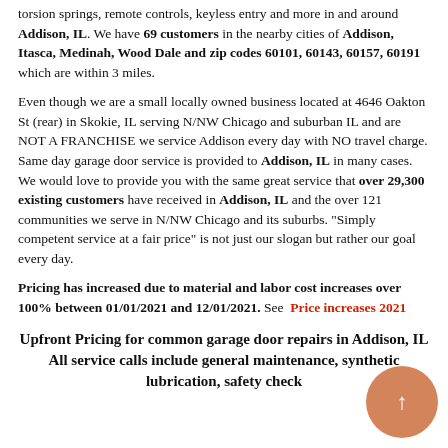torsion springs, remote controls, keyless entry and more in and around Addison, IL. We have 69 customers in the nearby cities of Addison, Itasca, Medinah, Wood Dale and zip codes 60101, 60143, 60157, 60191 which are within 3 miles.
Even though we are a small locally owned business located at 4646 Oakton St (rear) in Skokie, IL serving N/NW Chicago and suburban IL and are NOT A FRANCHISE we service Addison every day with NO travel charge. Same day garage door service is provided to Addison, IL in many cases. We would love to provide you with the same great service that over 29,300 existing customers have received in Addison, IL and the over 121 communities we serve in N/NW Chicago and its suburbs. "Simply competent service at a fair price" is not just our slogan but rather our goal every day.
Pricing has increased due to material and labor cost increases over 100% between 01/01/2021 and 12/01/2021. See Price increases 2021
Upfront Pricing for common garage door repairs in Addison, IL
All service calls include general maintenance, synthetic lubrication, safety check
[Figure (other): Orange circular scroll-to-top button with upward arrow]